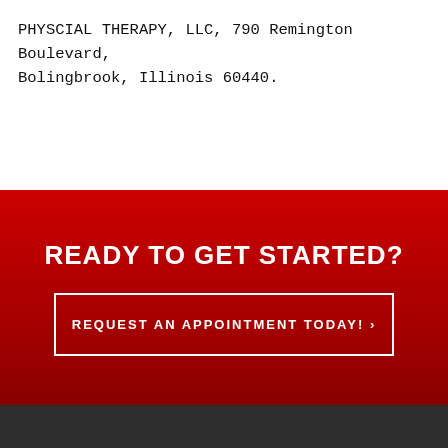PHYSCIAL THERAPY, LLC, 790 Remington Boulevard, Bolingbrook, Illinois 60440.
READY TO GET STARTED?
REQUEST AN APPOINTMENT TODAY! ›